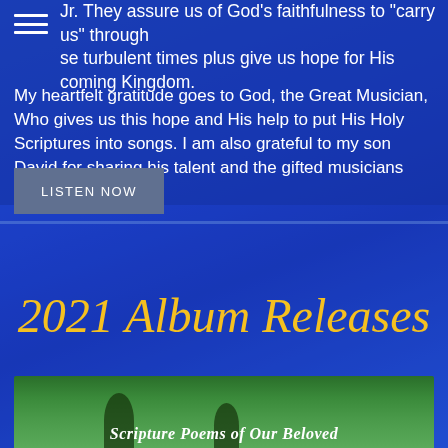Jr. They assure us of God's faithfulness to "carry us" through these turbulent times plus give us hope for His coming Kingdom.
My heartfelt gratitude goes to God, the Great Musician, Who gives us this hope and His help to put His Holy Scriptures into songs. I am also grateful to my son David for sharing his talent and the gifted musicians accompanying him.
LISTEN NOW
2021 Album Releases
[Figure (photo): Bottom portion of a nature/outdoor photo showing green trees with dark silhouettes, with white italic text overlay reading 'Scripture Poems of Our Beloved']